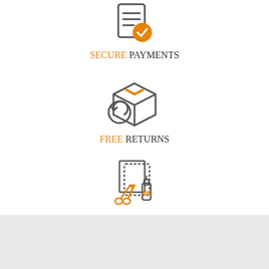[Figure (illustration): Icon of a document/bill with a checkmark in an orange circle, representing secure payments]
SECURE PAYMENTS
[Figure (illustration): Icon of a shipping box with a return arrow circle, representing free returns]
FREE RETURNS
[Figure (illustration): Icon of fabric/paper with scissors and glue bottle, representing artisan craftsmanship]
100% ARTISANS